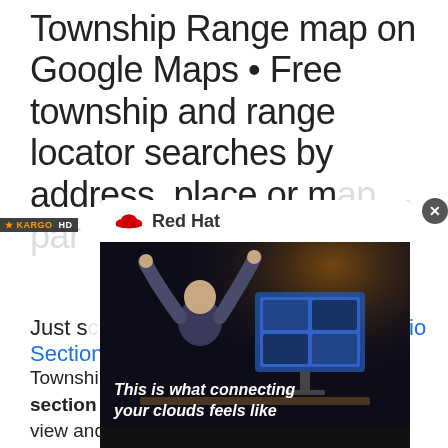Township Range map on Google Maps • Free township and range locator searches by address, place or map. Part of the...
[Figure (screenshot): Red Hat advertisement overlay showing 'This is what connecting your clouds feels like' with a person raising their hands in front of a computer monitor, displayed over the main page content. Includes Kargo bar at top-left and close button at top-right.]
Just scroll down the page to the Ohio Section Township Range Map Image
Township and Range made easy! With this section township range finder, you can view and search the Public Land Survey System (PLSS), also known as Congressional townships